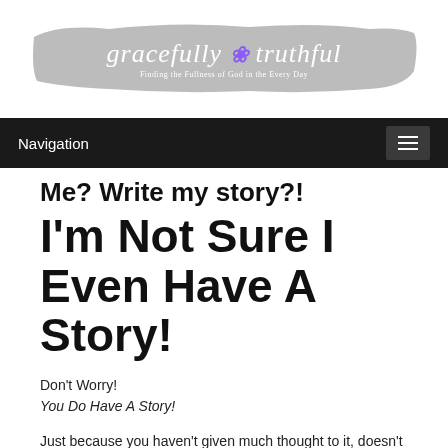[Figure (logo): Gracefully Truthful blog logo with brush stroke background and subtitle: Finding the Fullness of God in the Every Day]
Navigation
Me? Write my story?!
I'm Not Sure I Even Have A Story!
Don't Worry!
You Do Have A Story!
Just because you haven't given much thought to it, doesn't mean